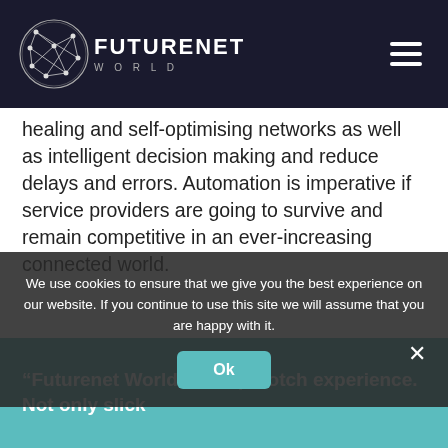FUTURENET WORLD
healing and self-optimising networks as well as intelligent decision making and reduce delays and errors. Automation is imperative if service providers are going to survive and remain competitive in an ever-increasing connected world.
“Futurenet World is a top-notch experience. Not only slick
We use cookies to ensure that we give you the best experience on our website. If you continue to use this site we will assume that you are happy with it.
Robert Curran, Consulting Analyst, Appledore Research